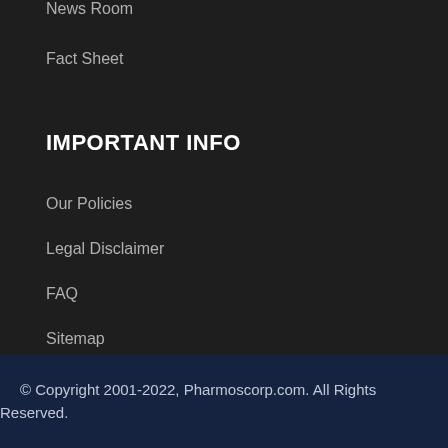News Room
Fact Sheet
IMPORTANT INFO
Our Policies
Legal Disclaimer
FAQ
Sitemap
© Copyright 2001-2022, Pharmoscorp.com. All Rights Reserved.